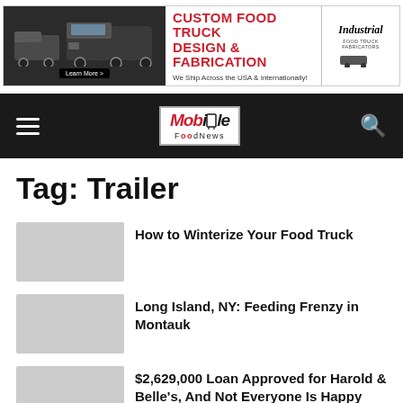[Figure (infographic): Banner advertisement for Custom Food Truck Design & Fabrication by Industrial Food Truck Fabricators. Shows food truck images on the left, red text in the center, and an Industrial logo on the right. Tagline: We Ship Across the USA & Internationally!]
Mobile Food News – navigation bar with hamburger menu, logo, and search icon
Tag: Trailer
How to Winterize Your Food Truck
Long Island, NY: Feeding Frenzy in Montauk
$2,629,000 Loan Approved for Harold & Belle's, And Not Everyone Is Happy